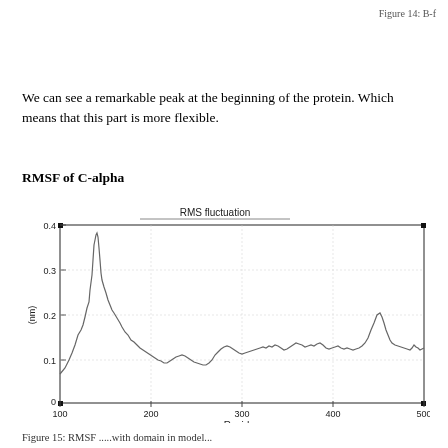Figure 14: B-f
We can see a remarkable peak at the beginning of the protein. Which means that this part is more flexible.
RMSF of C-alpha
[Figure (continuous-plot): RMSF (RMS fluctuation) of C-alpha plot. X-axis: Residue (100 to 500). Y-axis: (nm) from 0 to 0.4. A prominent spike near residue 125 reaching ~0.37 nm, with fluctuations around 0.1-0.2 nm throughout, and a secondary peak near residue 400 reaching ~0.19 nm.]
Figure 15: RMSF .....with domain in model...